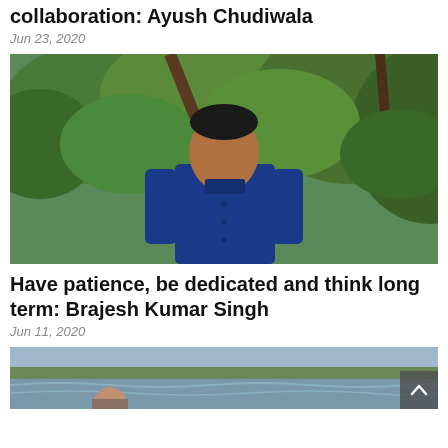collaboration: Ayush Chudiwala
Jun 23, 2020
[Figure (photo): Young man in blue shirt standing outdoors among trees]
Have patience, be dedicated and think long term: Brajesh Kumar Singh
Jun 11, 2020
[Figure (photo): Partial photo of person at seaside/beach, partially cropped at bottom of page]